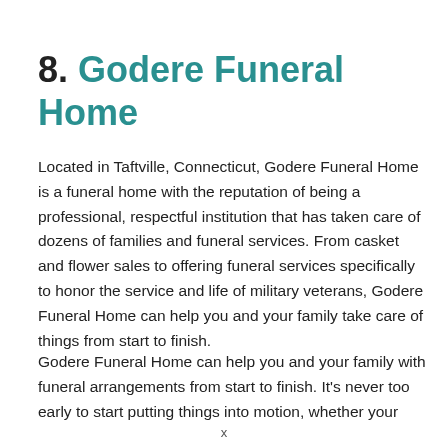8. Godere Funeral Home
Located in Taftville, Connecticut, Godere Funeral Home is a funeral home with the reputation of being a professional, respectful institution that has taken care of dozens of families and funeral services. From casket and flower sales to offering funeral services specifically to honor the service and life of military veterans, Godere Funeral Home can help you and your family take care of things from start to finish.
Godere Funeral Home can help you and your family with funeral arrangements from start to finish. It's never too early to start putting things into motion, whether your
x